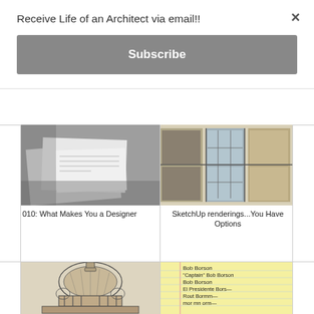Receive Life of an Architect via email!!
Subscribe
[Figure (photo): Black and white photo of architectural drawings/blueprints on a table]
010: What Makes You a Designer
[Figure (photo): SketchUp rendering of a building with glass and wood facade]
SketchUp renderings...You Have Options
[Figure (illustration): Detailed architectural sketch/drawing of a classical domed building]
[Figure (photo): Yellow lined notepad with handwritten names: Bob Borson, 'Captain' Bob Borson, Bob Borson, El Presidente Bors-, Rout Bormm-, mor mn orm-]